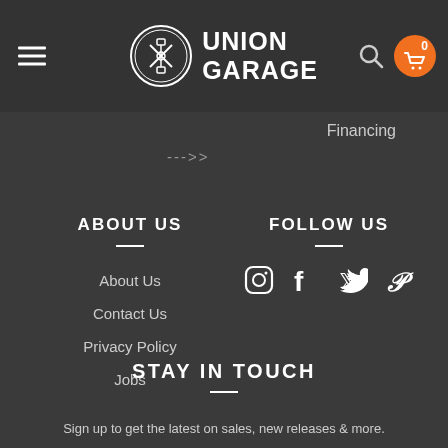UNION GARAGE
Financing
--->>
ABOUT US
About Us
Contact Us
Privacy Policy
Jobs
FOLLOW US
[Figure (other): Social media icons: Instagram, Facebook, Twitter, Pinterest]
STAY IN TOUCH
Sign up to get the latest on sales, new releases & more.